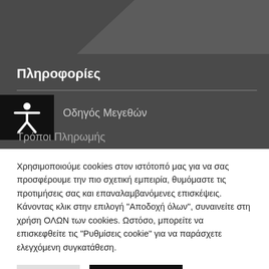[Figure (screenshot): Dark grey navigation header area with diagonal lighter band at top right, accessibility icon (person figure in black box), title 'Πληροφορίες', horizontal divider, and menu items 'Οδηγός Μεγεθών' and 'Τρόποι Πληρωμής'.]
Πληροφορίες
Οδηγός Μεγεθών
Τρόποι Πληρωμής
Χρησιμοποιούμε cookies στον ιστότοπό μας για να σας προσφέρουμε την πιο σχετική εμπειρία, θυμόμαστε τις προτιμήσεις σας και επαναλαμβανόμενες επισκέψεις. Κάνοντας κλικ στην επιλογή "Αποδοχή όλων", συναινείτε στη χρήση ΟΛΩΝ των cookies. Ωστόσο, μπορείτε να επισκεφθείτε τις "Ρυθμίσεις cookie" για να παράσχετε ελεγχόμενη συγκατάθεση.
Επιλογές
Αποδοχή όλων